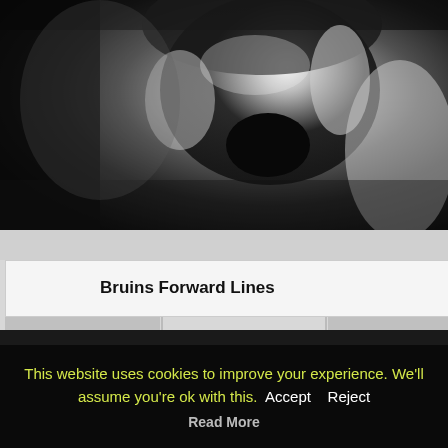[Figure (photo): Black and white photo of a person appearing to shout or scream, with hands near their face, in a crowd setting.]
| Bruins Forward Lines |  |  |  |
| --- | --- | --- | --- |
|  |  |  |  |
This website uses cookies to improve your experience. We'll assume you're ok with this. Accept Reject Read More